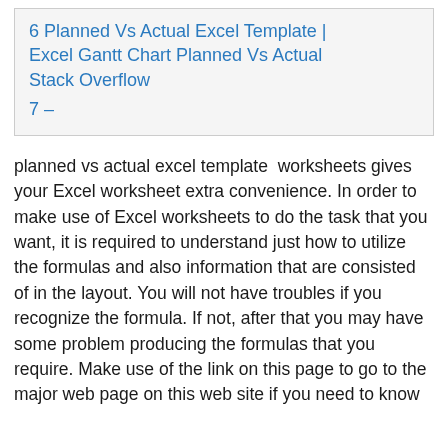6 Planned Vs Actual Excel Template | Excel Gantt Chart Planned Vs Actual Stack Overflow
7 –
planned vs actual excel template  worksheets gives your Excel worksheet extra convenience. In order to make use of Excel worksheets to do the task that you want, it is required to understand just how to utilize the formulas and also information that are consisted of in the layout. You will not have troubles if you recognize the formula. If not, after that you may have some problem producing the formulas that you require. Make use of the link on this page to go to the major web page on this web site if you need to know